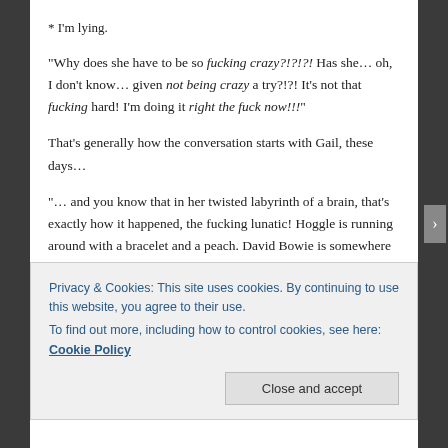* I'm lying.
“Why does she have to be so fucking crazy?!?!?! Has she… oh, I don’t know… given not being crazy a try?!?! It’s not that fucking hard! I’m doing it right the fuck now!!!”
That’s generally how the conversation starts with Gail, these days…
“… and you know that in her twisted labyrinth of a brain, that’s exactly how it happened, the fucking lunatic! Hoggle is running around with a bracelet and a peach. David Bowie is somewhere in my mother’s brain wearing a completely inappropriate outfit for a children’s movie!”
Privacy & Cookies: This site uses cookies. By continuing to use this website, you agree to their use.
To find out more, including how to control cookies, see here: Cookie Policy
Close and accept